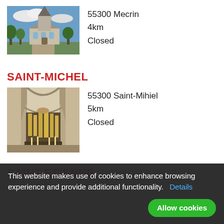[Figure (photo): Exterior photo of a church with a tall steeple against a blue sky with clouds, surrounded by trees and buildings]
55300 Mecrin
4km
Closed
SAINT-MICHEL
[Figure (photo): Interior photo of an ornate church showing grand arched nave, pipe organ, and elaborate stone carvings]
55300 Saint-Mihiel
5km
Closed
SAINT-ETIENNE
This website makes use of cookies to enhance browsing experience and provide additional functionality.   Details